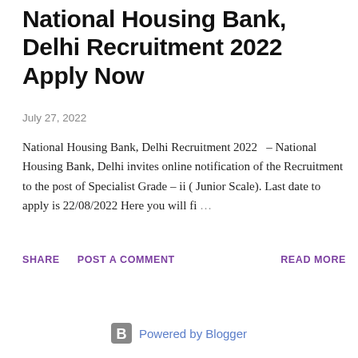National Housing Bank, Delhi Recruitment 2022 Apply Now
July 27, 2022
National Housing Bank, Delhi Recruitment 2022   – National Housing Bank, Delhi invites online notification of the Recruitment to the post of Specialist Grade – ii ( Junior Scale). Last date to apply is 22/08/2022 Here you will fi …
SHARE   POST A COMMENT   READ MORE
Powered by Blogger